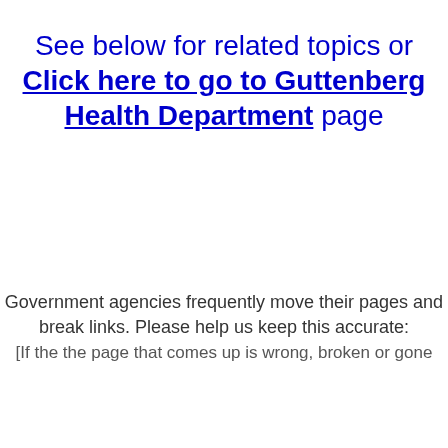See below for related topics or Click here to go to Guttenberg Health Department page
Government agencies frequently move their pages and break links. Please help us keep this accurate: [If the the page that comes up is wrong, broken or gone